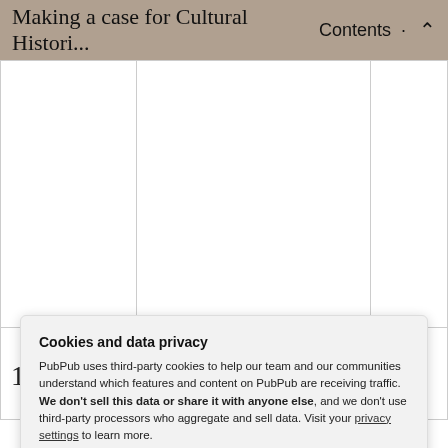Making a case for Cultural Histori... Contents
|  |  |  |
| 1 | Student is not engaged | c |
Cookies and data privacy
PubPub uses third-party cookies to help our team and our communities understand which features and content on PubPub are receiving traffic. We don't sell this data or share it with anyone else, and we don't use third-party processors who aggregate and sell data. Visit your privacy settings to learn more.
Accept | Disable